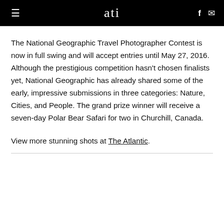ati
The National Geographic Travel Photographer Contest is now in full swing and will accept entries until May 27, 2016. Although the prestigious competition hasn't chosen finalists yet, National Geographic has already shared some of the early, impressive submissions in three categories: Nature, Cities, and People. The grand prize winner will receive a seven-day Polar Bear Safari for two in Churchill, Canada.
View more stunning shots at The Atlantic.